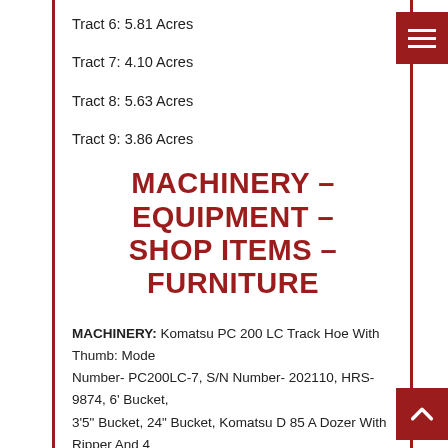Tract 6: 5.81 Acres
Tract 7: 4.10 Acres
Tract 8: 5.63 Acres
Tract 9: 3.86 Acres
MACHINERY – EQUIPMENT – SHOP ITEMS – FURNITURE
MACHINERY: Komatsu PC 200 LC Track Hoe With Thumb: Mode Number- PC200LC-7, S/N Number- 202110, HRS- 9874, 6' Bucket, 3'5" Bucket, 24" Bucket, Komatsu D 85 A Dozer With Ripper And 4 Way Blade: Model #- D85-12, S/N #- 20882, HRS- Unknown, Ripper- ATECO 3 Shank, Model #- PRFD85A, S/N #25651, Gallon T500M Grader Model #T500M, S/N #GG-09769, HRS- 4397, Terex TE11...